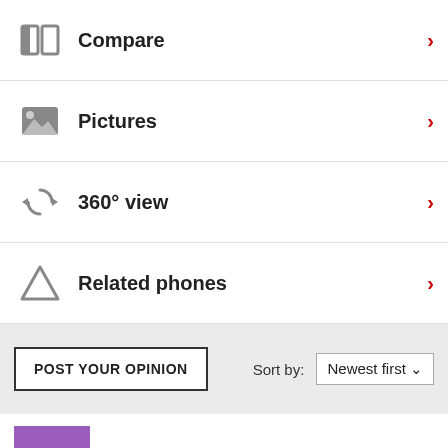Compare
Pictures
360° view
Related phones
POST YOUR OPINION
Sort by: Newest first
orlie_m  PAW  23 Aug 2010
I got one yesterday for P 4,800 at SM City Iloilo. This phone has a querty and regular (virtual) keypad. The phone is responsive. My son is using it now, i think he is enjoying his new toy. Nice touch phone for an affordable price... keep it up Samsung.. oh by the way